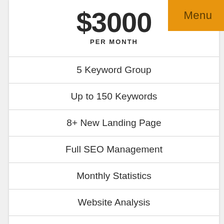$3000 PER MONTH
Menu
5 Keyword Group
Up to 150 Keywords
8+ New Landing Page
Full SEO Management
Monthly Statistics
Website Analysis
Competition Analysis
Keyword Research